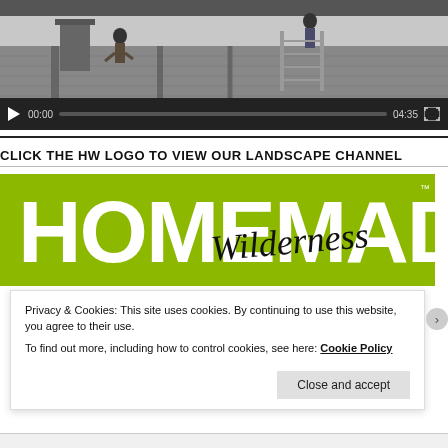[Figure (screenshot): Video player showing workers on a rooftop with scaffolding. Controls show play button, 00:00 timestamp, progress bar, 04:35 duration, and fullscreen icon.]
CLICK THE HW LOGO TO VIEW OUR LANDSCAPE CHANNEL
[Figure (logo): Homemade Wilderness logo — large green rectangle with bold white text HOMEMADE and WILDERNESS with a cursive script 'Wilderness' overlay in black.]
Privacy & Cookies: This site uses cookies. By continuing to use this website, you agree to their use.
To find out more, including how to control cookies, see here: Cookie Policy
Close and accept